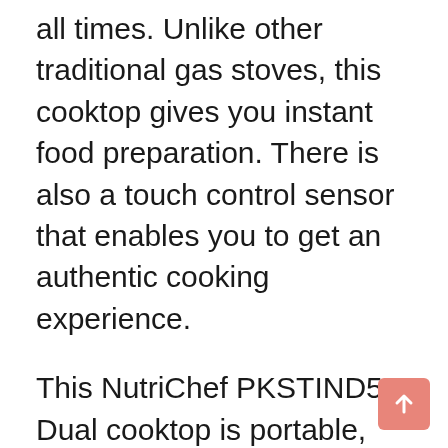all times. Unlike other traditional gas stoves, this cooktop gives you instant food preparation. There is also a touch control sensor that enables you to get an authentic cooking experience.
This NutriChef PKSTIND52 Dual cooktop is portable, making it suitable for indoor and outdoor cooking activities. Again, it's a heavy-duty cooking appliance that helps you cook faster as you save on energy consumption. Since it cooks by using electromagnetism, there is no heat lost between the pot and the cooking surface. It has a space-saving design making it suitable for those with limited space at home. Due to its versatility, this